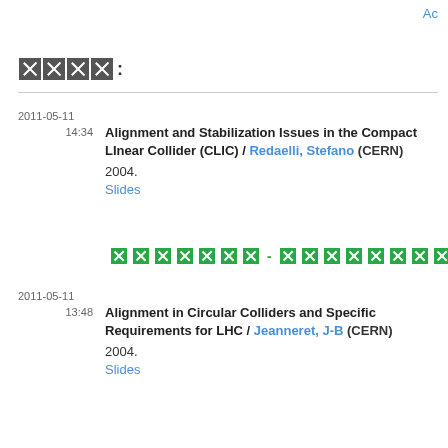Ac
XXXX:
2011-05-11 14:34 — Alignment and Stabilization Issues in the Compact LInear Collider (CLIC) / Redaelli, Stefano (CERN) 2004. Slides
XXXXXXX - XXXXXXXXXX
2011-05-11 13:48 — Alignment in Circular Colliders and Specific Requirements for LHC / Jeanneret, J-B (CERN) 2004. Slides